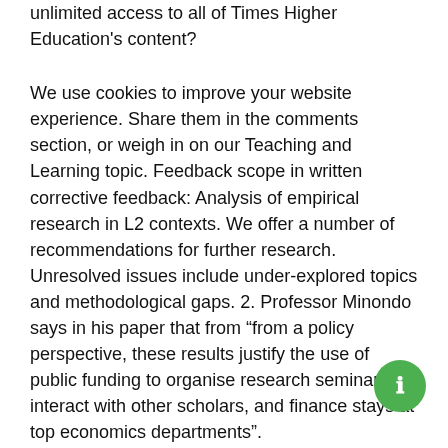unlimited access to all of Times Higher Education's content?
We use cookies to improve your website experience. Share them in the comments section, or weigh in on our Teaching and Learning topic. Feedback scope in written corrective feedback: Analysis of empirical research in L2 contexts. We offer a number of recommendations for further research. Unresolved issues include under-explored topics and methodological gaps. 2. Professor Minondo says in his paper that from “from a policy perspective, these results justify the use of public funding to organise research seminars, interact with other scholars, and finance stays at top economics departments”.
Lucas Pouille Instagram, Pedro Goncalves Canoe, John Cass, Ventana Medical Systems Glassdoor, Joe And Krystal Burger, Austrian Culture Vs American Culture,